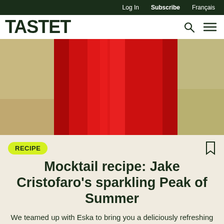Log In   Subscribe   Français
TASTET
[Figure (photo): Close-up photo of a red mocktail drink in a glass against a blurred background]
RECIPE
Mocktail recipe: Jake Cristofaro's sparkling Peak of Summer
We teamed up with Eska to bring you a deliciously refreshing mocktail recipe: get ready for Peak of Summer!